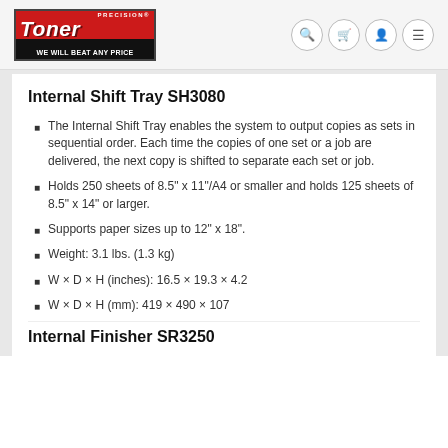[Figure (logo): Precision Toner logo with red background, italic white text, and black banner reading WE WILL BEAT ANY PRICE]
Internal Shift Tray SH3080
The Internal Shift Tray enables the system to output copies as sets in sequential order. Each time the copies of one set or a job are delivered, the next copy is shifted to separate each set or job.
Holds 250 sheets of 8.5" x 11"/A4 or smaller and holds 125 sheets of 8.5" x 14" or larger.
Supports paper sizes up to 12" x 18".
Weight: 3.1 lbs. (1.3 kg)
W × D × H (inches): 16.5 × 19.3 × 4.2
W × D × H (mm): 419 × 490 × 107
Internal Finisher SR3250